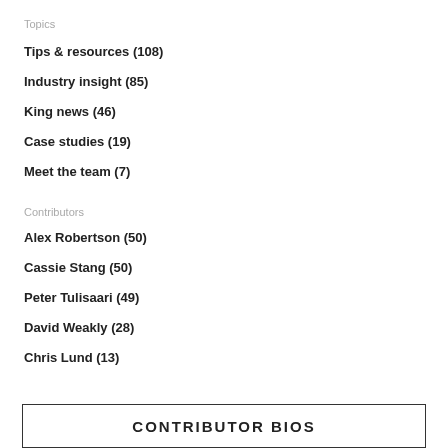Topics
Tips & resources (108)
Industry insight (85)
King news (46)
Case studies (19)
Meet the team (7)
Contributors
Alex Robertson (50)
Cassie Stang (50)
Peter Tulisaari (49)
David Weakly (28)
Chris Lund (13)
CONTRIBUTOR BIOS